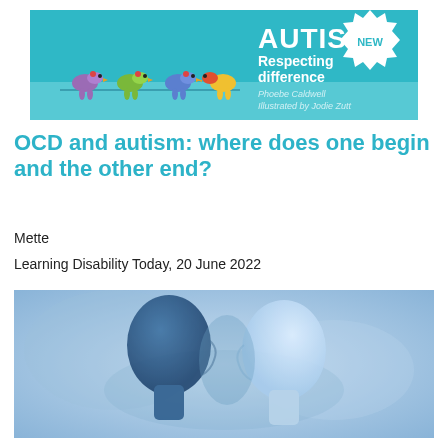[Figure (illustration): Book advertisement banner for 'Autism: Respecting difference' by Phoebe Caldwell, illustrated by Jodie Zutt. Teal/turquoise background with colorful birds (purple, green, blue, yellow-red) perched on a line. 'NEW' badge in white starburst. Text: AUTISM Respecting difference, Phoebe Caldwell, Illustrated by Jodie Zutt.]
OCD and autism: where does one begin and the other end?
Mette
Learning Disability Today, 20 June 2022
[Figure (illustration): Blue-toned image of two overlapping human head silhouettes facing opposite directions, one dark blue and one light/white, suggesting duality or split identity, on a watercolor blue background.]